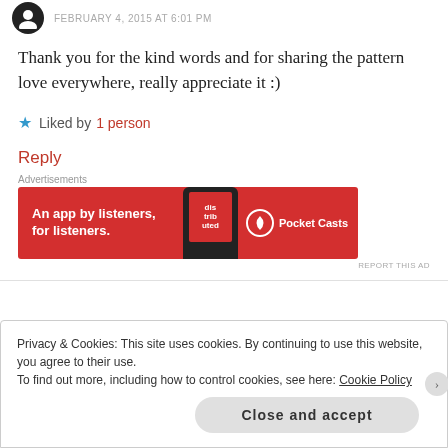FEBRUARY 4, 2015 AT 6:01 PM
Thank you for the kind words and for sharing the pattern love everywhere, really appreciate it :)
★ Liked by 1 person
Reply
[Figure (other): Pocket Casts advertisement banner on red background. Text: 'An app by listeners, for listeners.' with Pocket Casts logo and a phone image.]
REPORT THIS AD
Privacy & Cookies: This site uses cookies. By continuing to use this website, you agree to their use.
To find out more, including how to control cookies, see here: Cookie Policy
Close and accept